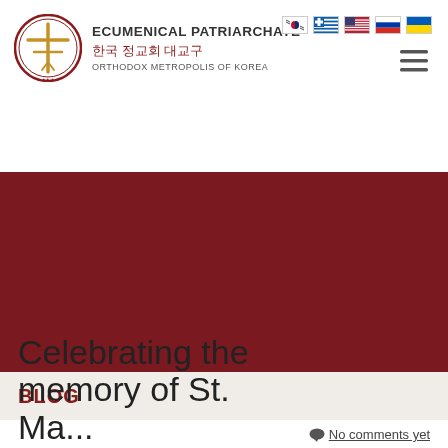[Figure (logo): Ecumenical Patriarchate Orthodox Metropolis of Korea logo with circular cross emblem]
[Figure (other): Row of country flag icons: South Korea, Greece, USA, Russia, Ukraine]
[Figure (other): Hamburger menu icon (three horizontal lines)]
[Figure (other): Dark red/maroon banner image area]
BLOG
Celebrating the memory of St. Marina the...
No comments yet